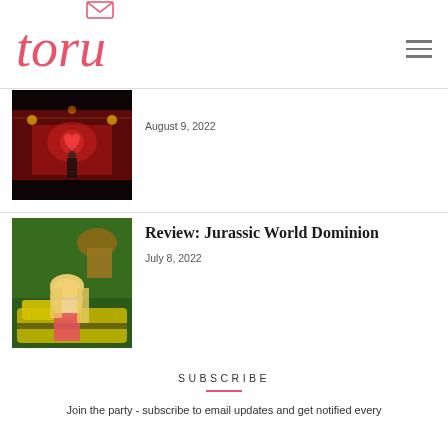toru
[Figure (photo): Stage photo with red lighting and heart decoration, theater venue interior]
August 9, 2022
Review: Jurassic World Dominion
[Figure (photo): Young blonde woman smiling in front of a dinosaur animatronic and yellow/green Jurassic Park vehicle, tropical foliage background]
July 8, 2022
SUBSCRIBE
Join the party - subscribe to email updates and get notified every